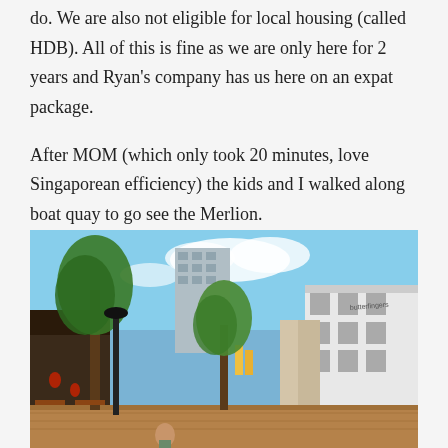do. We are also not eligible for local housing (called HDB). All of this is fine as we are only here for 2 years and Ryan's company has us here on an expat package.
After MOM (which only took 20 minutes, love Singaporean efficiency) the kids and I walked along boat quay to go see the Merlion.
[Figure (photo): Street view of Boat Quay area in Singapore showing shophouses on the right, trees lining a pedestrian walkway, tall modern buildings in the background, and outdoor restaurant seating on the left. A person is visible in the foreground.]